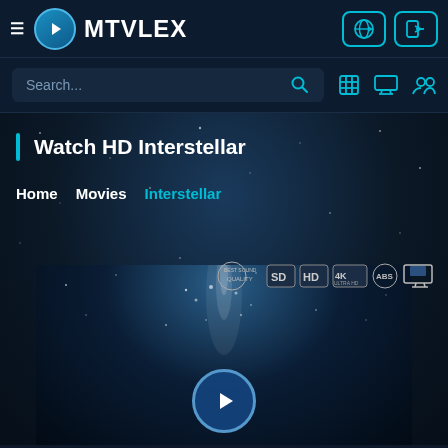MTVLEX - navigation bar with logo, globe icon and login icon
Search...
Watch HD Interstellar
Home  Movies  Interstellar
[Figure (screenshot): Quality badges row showing: best sound quality logo, SD, HD, 4K Ultra HD, ABS logo, screen icon]
[Figure (screenshot): Interstellar movie thumbnail with dark space background showing light beam and play button]